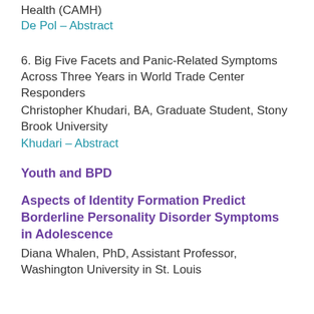Health (CAMH)
De Pol – Abstract
6. Big Five Facets and Panic-Related Symptoms Across Three Years in World Trade Center Responders
Christopher Khudari, BA, Graduate Student, Stony Brook University
Khudari – Abstract
Youth and BPD
Aspects of Identity Formation Predict Borderline Personality Disorder Symptoms in Adolescence
Diana Whalen, PhD, Assistant Professor, Washington University in St. Louis